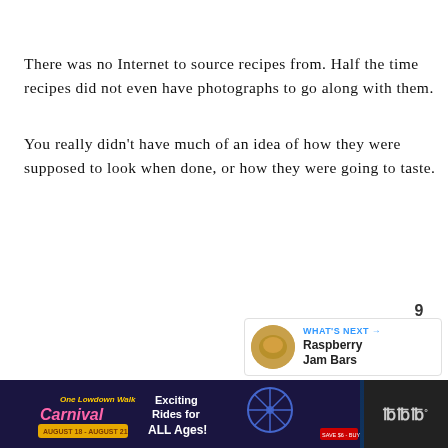There was no Internet to source recipes from. Half the time recipes did not even have photographs to go along with them.
You really didn't have much of an idea of how they were supposed to look when done, or how they were going to taste.
[Figure (infographic): Blue circular like/heart button with count of 9 below it, and a share button below that]
[Figure (infographic): What's Next panel showing a thumbnail image and text 'Raspberry Jam Bars']
[Figure (infographic): Bottom advertisement banner for One Lowdown Walk Carnival, August 18-August 21, Exciting Rides for ALL Ages!, with ferris wheel image and WeatherBug logo]